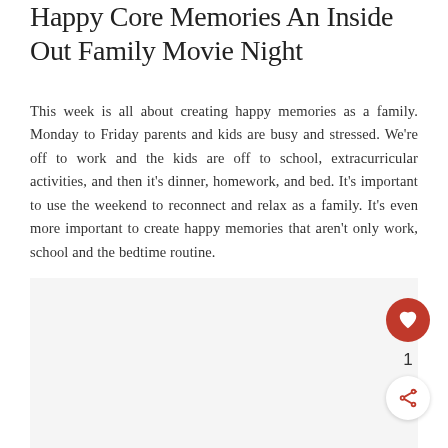Happy Core Memories An Inside Out Family Movie Night
This week is all about creating happy memories as a family. Monday to Friday parents and kids are busy and stressed. We're off to work and the kids are off to school, extracurricular activities, and then it's dinner, homework, and bed. It's important to use the weekend to reconnect and relax as a family. It's even more important to create happy memories that aren't only work, school and the bedtime routine.
[Figure (photo): Image area below the text (partially visible, appears to be a light gray placeholder area)]